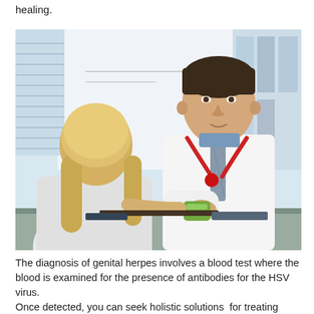healing.
[Figure (photo): A female patient with blonde hair, seen from behind, sitting across a desk from a male doctor in a white coat with a red stethoscope, in a medical office setting. The patient appears to be handing or receiving something from the doctor.]
The diagnosis of genital herpes involves a blood test where the blood is examined for the presence of antibodies for the HSV virus. Once detected, you can seek holistic solutions for treating symptoms and prevent outbreaks. The body heals itself and the intensity of pain is also minimized. You can take natural measures to prevent you from